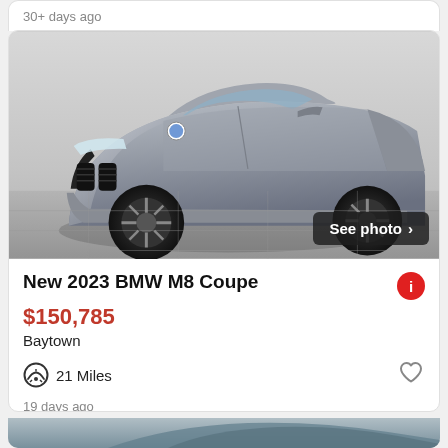30+ days ago
[Figure (photo): Silver BMW M8 Coupe photographed from front-left angle in a studio/parking setting with a See photo button overlay]
New 2023 BMW M8 Coupe
$150,785
Baytown
21 Miles
19 days ago
[Figure (photo): Partial view of a dark-colored car roof visible at the bottom of the page]